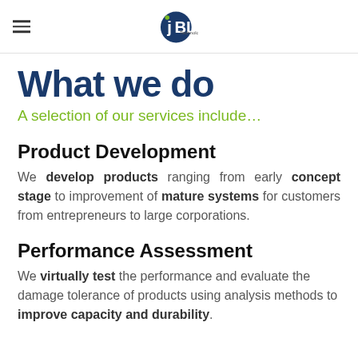JBL Technologies logo and navigation hamburger menu
What we do
A selection of our services include…
Product Development
We develop products ranging from early concept stage to improvement of mature systems for customers from entrepreneurs to large corporations.
Performance Assessment
We virtually test the performance and evaluate the damage tolerance of products using analysis methods to improve capacity and durability.